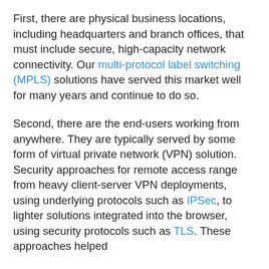First, there are physical business locations, including headquarters and branch offices, that must include secure, high-capacity network connectivity. Our multi-protocol label switching (MPLS) solutions have served this market well for many years and continue to do so.
Second, there are the end-users working from anywhere. They are typically served by some form of virtual private network (VPN) solution. Security approaches for remote access range from heavy client-server VPN deployments, using underlying protocols such as IPSec, to lighter solutions integrated into the browser, using security protocols such as TLS. These approaches helped